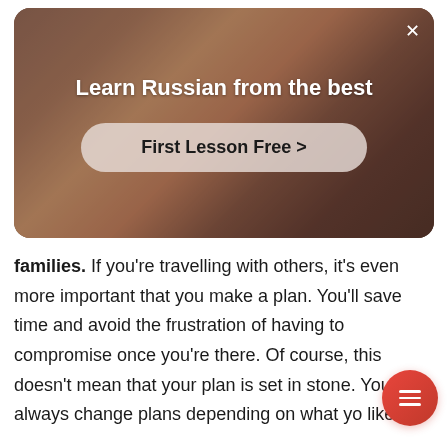[Figure (screenshot): Advertisement card with dark warm-toned background showing a person with arms outstretched. White text reads 'Learn Russian from the best' with a semi-transparent pill button 'First Lesson Free >' and a close X button in the top right.]
families. If you're travelling with others, it's even more important that you make a plan. You'll save time and avoid the frustration of having to compromise once you're there. Of course, this doesn't mean that your plan is set in stone. You can always change plans depending on what yo like.